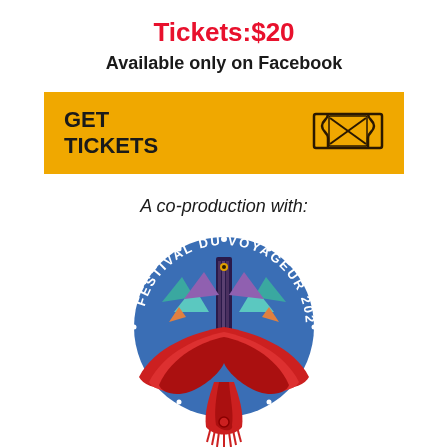Tickets:$20
Available only on Facebook
[Figure (infographic): Yellow button banner with bold black text 'GET TICKETS' on the left and a ticket icon on the right]
A co-production with:
[Figure (logo): Festival du Voyageur 2020 circular logo with illustrated Indigenous-inspired bird/figure design in red, blue, and purple with text around the circle]